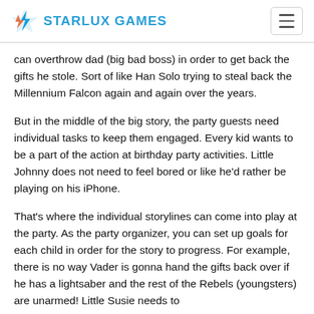STARLUX GAMES
can overthrow dad (big bad boss) in order to get back the gifts he stole. Sort of like Han Solo trying to steal back the Millennium Falcon again and again over the years.
But in the middle of the big story, the party guests need individual tasks to keep them engaged. Every kid wants to be a part of the action at birthday party activities. Little Johnny does not need to feel bored or like he'd rather be playing on his iPhone.
That's where the individual storylines can come into play at the party. As the party organizer, you can set up goals for each child in order for the story to progress. For example, there is no way Vader is gonna hand the gifts back over if he has a lightsaber and the rest of the Rebels (youngsters) are unarmed! Little Susie needs to